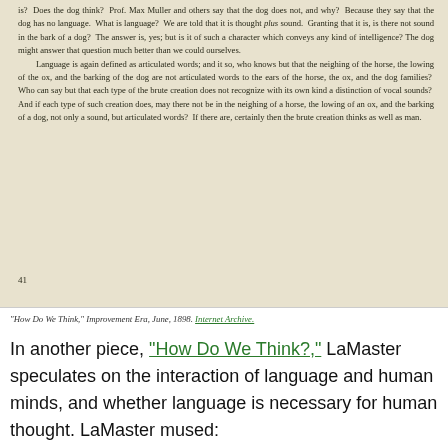[Figure (photo): Scanned book page excerpt discussing animal language and thought, from 'How Do We Think?' Improvement Era, June 1898, showing page 41 of the original book.]
"How Do We Think," Improvement Era, June, 1898. Internet Archive.
In another piece, "How Do We Think?," LaMaster speculates on the interaction of language and human minds, and whether language is necessary for human thought. LaMaster mused: